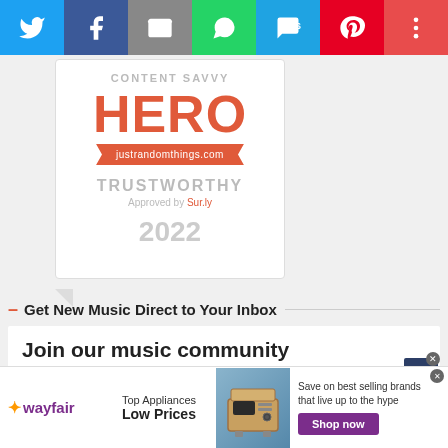[Figure (infographic): Social sharing bar with Twitter, Facebook, Email, WhatsApp, SMS, Pinterest, and More buttons]
[Figure (infographic): Content Savvy Hero badge from justrandomthings.com, Trustworthy, Approved by Sur.ly, 2022]
– Get New Music Direct to Your Inbox
Join our music community
* indicates required
Email Address *
[Figure (infographic): Wayfair advertisement: Top Appliances Low Prices, Save on best selling brands that live up to the hype, Shop now button]